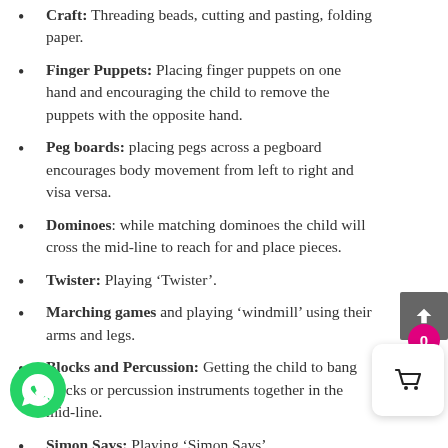Craft: Threading beads, cutting and pasting, folding paper.
Finger Puppets: Placing finger puppets on one hand and encouraging the child to remove the puppets with the opposite hand.
Peg boards: placing pegs across a pegboard encourages body movement from left to right and visa versa.
Dominoes: while matching dominoes the child will cross the mid-line to reach for and place pieces.
Twister: Playing ‘Twister’.
Marching games and playing ‘windmill’ using their arms and legs.
Blocks and Percussion: Getting the child to bang blocks or percussion instruments together in the mid-line.
Simon Says: Playing ‘Simon Says’.
Streamers: Getting the child to make streamers or